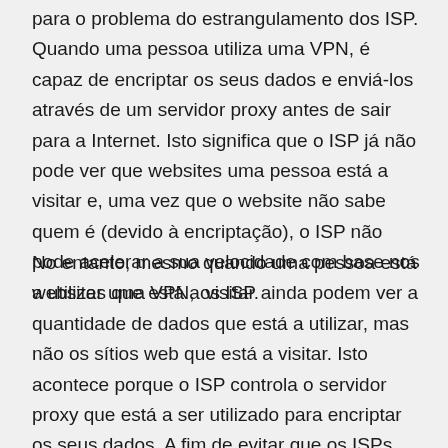para o problema do estrangulamento dos ISP. Quando uma pessoa utiliza uma VPN, é capaz de encriptar os seus dados e enviá-los através de um servidor proxy antes de sair para a Internet. Isto significa que o ISP já não pode ver que websites uma pessoa está a visitar e, uma vez que o website não sabe quem é (devido à encriptação), o ISP não pode acelerar a sua velocidade com base nos websites que está a visitar.
No entanto, mesmo quando uma pessoa está a utilizar uma VPN, os ISP ainda podem ver a quantidade de dados que está a utilizar, mas não os sítios web que está a visitar. Isto acontece porque o ISP controla o servidor proxy que está a ser utilizado para encriptar os seus dados. A fim de evitar que os ISPs contem quantos dados estão a utilizar, uma pessoa deve ligar-se à VPN através